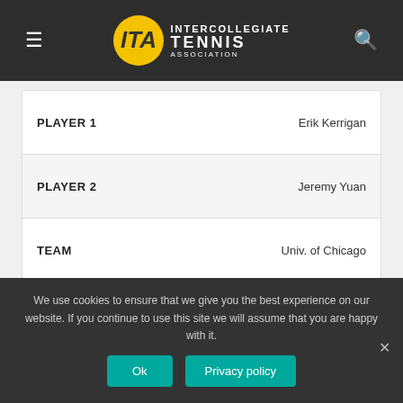[Figure (logo): ITA Intercollegiate Tennis Association logo with hamburger menu and search icon on dark header]
| Label | Value |
| --- | --- |
| PLAYER 1 | Erik Kerrigan |
| PLAYER 2 | Jeremy Yuan |
| TEAM | Univ. of Chicago |
| Label | Value |
| --- | --- |
| RANK | 3 |
| PLAYER 1 | Leo Vithoontien |
| PLAYER 2 | Alexander Zuczek |
| TEAM | Carleton College |
We use cookies to ensure that we give you the best experience on our website. If you continue to use this site we will assume that you are happy with it.